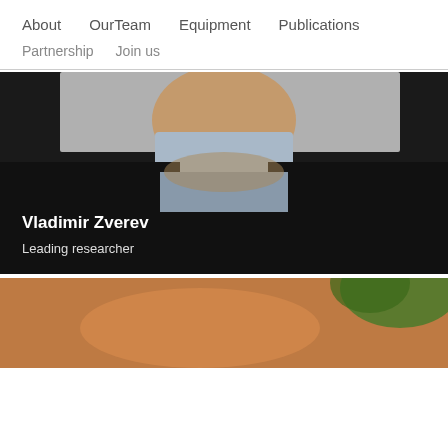About  OurTeam  Equipment  Publications
Partnership  Join us
[Figure (photo): Portrait photo of Vladimir Zverev, cropped at neck/chest level, wearing a dark jacket over a light blue collared shirt. White text overlay reads 'Vladimir Zverev' (bold) and 'Leading researcher' below.]
[Figure (photo): Partially visible photo below, showing warm brown and green tones, cropped at bottom of page.]